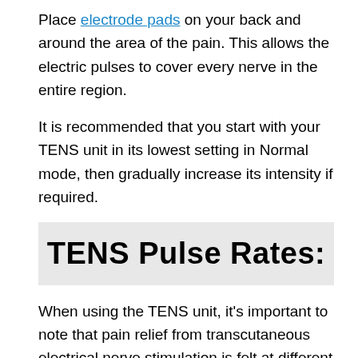Place electrode pads on your back and around the area of the pain. This allows the electric pulses to cover every nerve in the entire region.
It is recommended that you start with your TENS unit in its lowest setting in Normal mode, then gradually increase its intensity if required.
TENS Pulse Rates:
When using the TENS unit, it's important to note that pain relief from transcutaneous electrical nerve stimulation is felt at different frequencies. You must set the machine to a certain rate and width depending on your pain intensity:
Pulse rate: